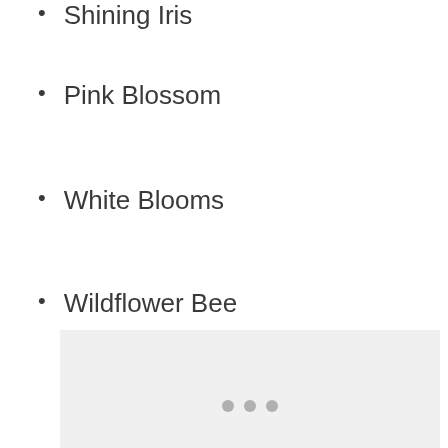Shining Iris
Pink Blossom
White Blooms
Wildflower Bee
[Figure (other): Light gray placeholder box with three small gray dots centered in the lower portion]